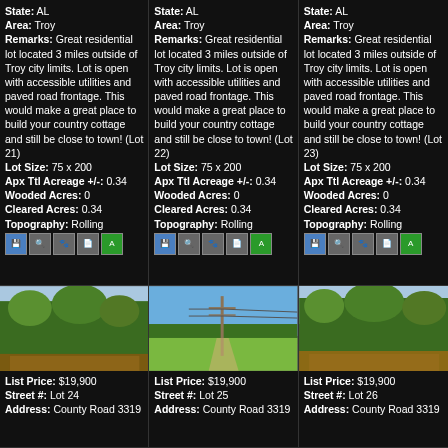State: AL
Area: Troy
Remarks: Great residential lot located 3 miles outside of Troy city limits. Lot is open with accessible utilities and paved road frontage. This would make a great place to build your country cottage and still be close to town! (Lot 21)
Lot Size: 75 x 200
Apx Ttl Acreage +/-: 0.34
Wooded Acres: 0
Cleared Acres: 0.34
Topography: Rolling
State: AL
Area: Troy
Remarks: Great residential lot located 3 miles outside of Troy city limits. Lot is open with accessible utilities and paved road frontage. This would make a great place to build your country cottage and still be close to town! (Lot 22)
Lot Size: 75 x 200
Apx Ttl Acreage +/-: 0.34
Wooded Acres: 0
Cleared Acres: 0.34
Topography: Rolling
State: AL
Area: Troy
Remarks: Great residential lot located 3 miles outside of Troy city limits. Lot is open with accessible utilities and paved road frontage. This would make a great place to build your country cottage and still be close to town! (Lot 23)
Lot Size: 75 x 200
Apx Ttl Acreage +/-: 0.34
Wooded Acres: 0
Cleared Acres: 0.34
Topography: Rolling
[Figure (photo): Wooded land parcel photo - Lot 24]
List Price: $19,900
Street #: Lot 24
Address: County Road 3319
[Figure (photo): Open field with utility pole - Lot 25]
List Price: $19,900
Street #: Lot 25
Address: County Road 3319
[Figure (photo): Wooded land parcel photo - Lot 26]
List Price: $19,900
Street #: Lot 26
Address: County Road 3319